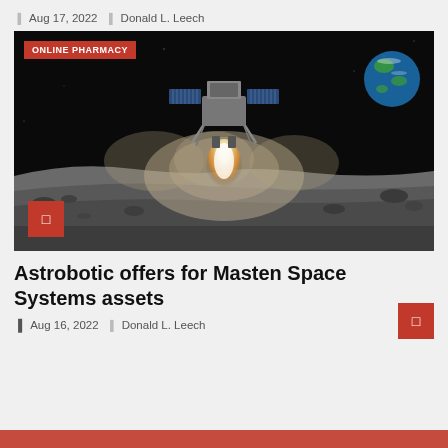Aug 17, 2022  Donald L. Leech
[Figure (photo): A lunar lander descending to the moon surface with rocket exhaust plume and dust cloud, Earth visible in upper right background. An 'ONLINE PHARMACY' red badge is overlaid at top left, and a red square icon box at bottom left.]
Astrobotic offers for Masten Space Systems assets
Aug 16, 2022  Donald L. Leech